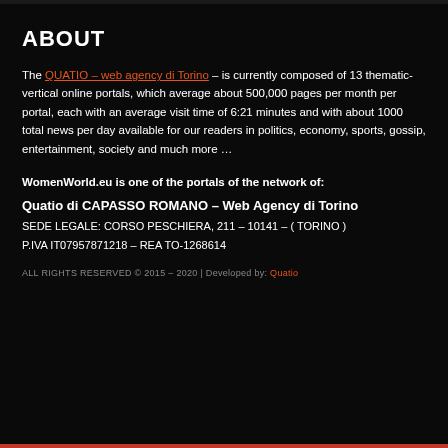ABOUT
The QUATIO – web agency di Torino – is currently composed of 13 thematic-vertical online portals, which average about 500,000 pages per month per portal, each with an average visit time of 6:21 minutes and with about 1000 total news per day available for our readers in politics, economy, sports, gossip, entertainment, society and much more …
WomenWorld.eu is one of the portals of the network of:
Quatio di CAPASSO ROMANO – Web Agency di Torino
SEDE LEGALE: CORSO PESCHIERA, 211 – 10141 – ( TORINO )
P.IVA IT07957871218 – REA TO-1268614
ALL RIGHTS RESERVED © 2015 – 2020 | Developed by: Quatio